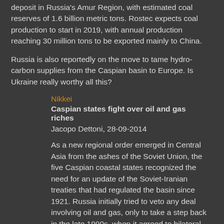deposit in Russia's Amur Region, with estimated coal reserves of 1.6 billion metric tons. Rostec expects coal production to start in 2019, with annual production reaching 30 million tons to be exported mainly to China.
Russia is also reportedly on the move to tame hydro-carbon supplies from the Caspian basin to Europe. Is Ukraine really worthy all this?
Nikkei
Caspian states fight over oil and gas riches
Jacopo Dettoni, 28-09-2014
As a new regional order emerged in Central Asia from the ashes of the Soviet Union, the five Caspian coastal states recognized the need for an update of the Soviet-Iranian treaties that had regulated the basin since 1921. Russia initially tried to veto any deal involving oil and gas, only to take a step back in the late 1990s, when it agreed to bilateral treaties with Azerbaijan and Kazakhstan that granted sovereign rights over